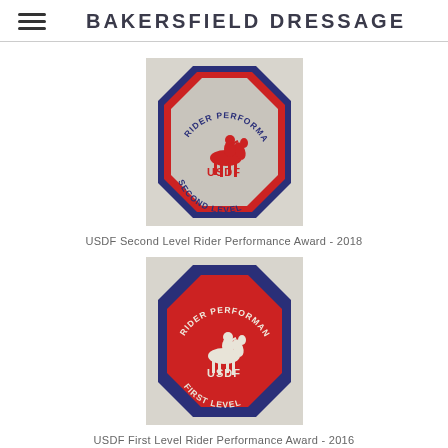BAKERSFIELD DRESSAGE
[Figure (photo): USDF Second Level Rider Performance Award patch - octagonal embroidered badge with gray/silver background, red and blue border, red rider on horseback logo, text reads RIDER PERFORMANCE USDF SECOND LEVEL]
USDF Second Level Rider Performance Award - 2018
[Figure (photo): USDF First Level Rider Performance Award patch - octagonal embroidered badge with red background, blue border, white rider on horseback logo, text reads RIDER PERFORMANCE USDF FIRST LEVEL]
USDF First Level Rider Performance Award - 2016